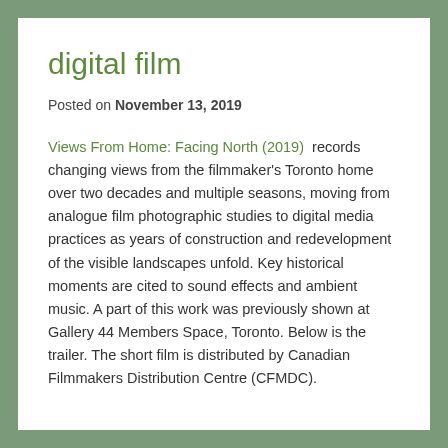digital film
Posted on November 13, 2019
Views From Home: Facing North (2019)  records changing views from the filmmaker's Toronto home over two decades and multiple seasons, moving from analogue film photographic studies to digital media practices as years of construction and redevelopment of the visible landscapes unfold. Key historical moments are cited to sound effects and ambient music. A part of this work was previously shown at Gallery 44 Members Space, Toronto. Below is the trailer. The short film is distributed by Canadian Filmmakers Distribution Centre (CFMDC).